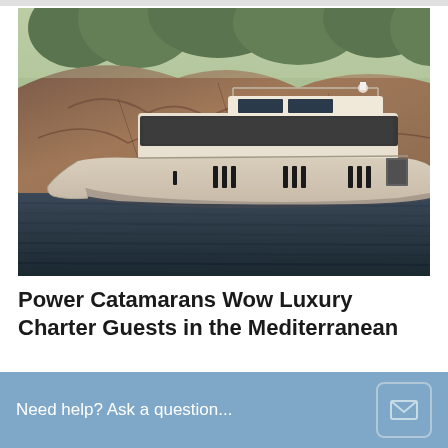[Figure (photo): A luxury power catamaran yacht with a white and beige hull floating on dark water, with rocky cliffs and green trees in the background. The yacht has a modern design with a flybridge, solar panels on top, and distinctive porthole windows.]
Power Catamarans Wow Luxury Charter Guests in the Mediterranean
[partial text obscured by overlay]
Need help? Ask a question...